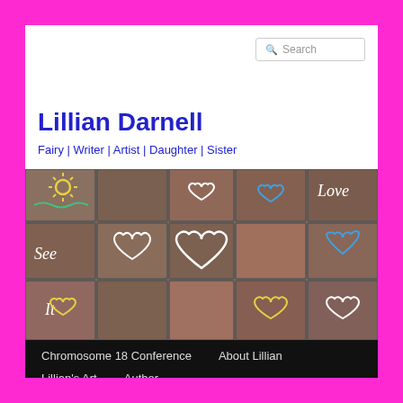Search
Lillian Darnell
Fairy | Writer | Artist | Daughter | Sister
[Figure (photo): Chalk drawings of hearts and words 'See It' and 'Love' on cobblestone pavement]
Chromosome 18 Conference   About Lillian   Lillian's Art   Author
TAG ARCHIVES: SPICE